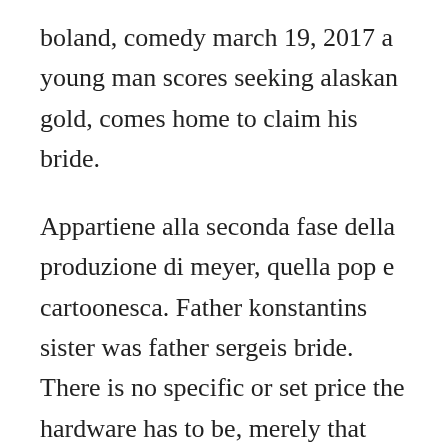boland, comedy march 19, 2017 a young man scores seeking alaskan gold, comes home to claim his bride.
Appartiene alla seconda fase della produzione di meyer, quella pop e cartoonesca. Father konstantins sister was father sergeis bride. There is no specific or set price the hardware has to be, merely that there is some sort of eligible hardware present in the order itself. Bride and groom 19151916 amedeo modigliani 18841920 italian oil on canvas was reproduced on premium heavy stock